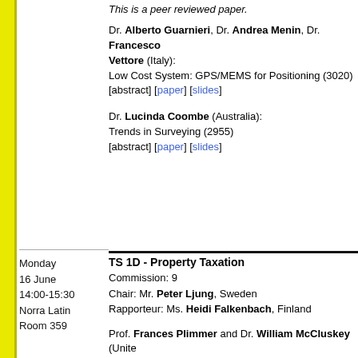This is a peer reviewed paper.
Dr. Alberto Guarnieri, Dr. Andrea Menin, Dr. Francesco Vettore (Italy): Low Cost System: GPS/MEMS for Positioning (3020) [abstract] [paper] [slides]
Dr. Lucinda Coombe (Australia): Trends in Surveying (2955) [abstract] [paper] [slides]
Monday 16 June 14:00-15:30 Norra Latin Room 359
TS 1D - Property Taxation
Commission: 9
Chair: Mr. Peter Ljung, Sweden
Rapporteur: Ms. Heidi Falkenbach, Finland
Prof. Frances Plimmer and Dr. William McCluskey (Unite... Ad Valorem Property Taxation in the 2004 Accession State... Europe (2581) [abstract] [paper] [slides] This is a peer reviewed paper.
Mr. Henrik Roos and Mr. Olof Färnkvist (Sweden): The Value of Using Information that Has Primarily Been Co... Taxation for Valuation, Granting Loans, Statistics and Othe... [abstract] [paper] [slides]
Mr. Arvydas Bagdonavicius, Mr. Steponas Deveikis and... (Lithuania): Automated Valuation System for Real Estate Tax Appeals (... [abstract] [paper] [slides]
Dr. Piotr Parzych and Dr. Jaroslaw Bydlosz (Poland): Problems of Real Estates' Valuation for Taxing Purposes (2...